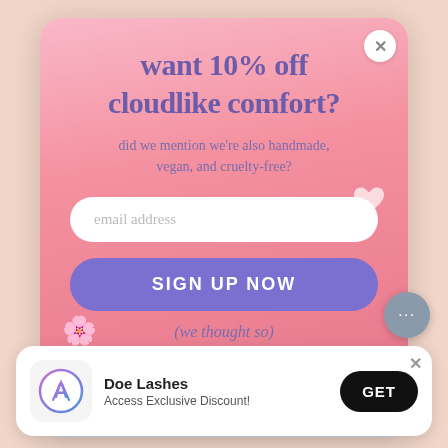want 10% off cloudlike comfort?
did we mention we're also handmade, vegan, and cruelty-free?
email address
SIGN UP NOW
(we thought so)
[Figure (screenshot): Light blue patterned fabric/product image at bottom of modal]
Doe Lashes
Access Exclusive Discount!
GET